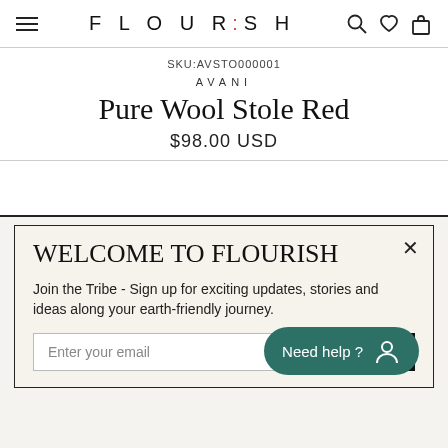FLOURISH
SKU:AVSTO000001
AVANI
Pure Wool Stole Red
$98.00 USD
WELCOME TO FLOURISH
Join the Tribe - Sign up for exciting updates, stories and ideas along your earth-friendly journey.
Enter your email
Need help?